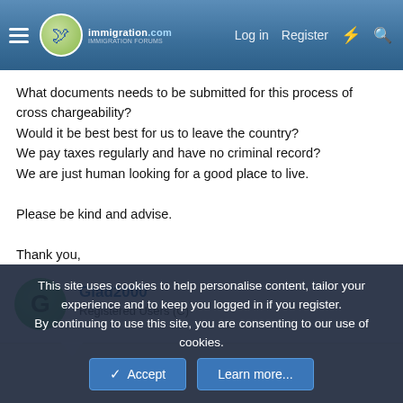immigration.com — Log in | Register
What documents needs to be submitted for this process of cross chargeability?
Would it be best best for us to leave the country?
We pay taxes regularly and have no criminal record?
We are just human looking for a good place to live.

Please be kind and advise.

Thank you,
Glad2000
Registered Users (C)
This site uses cookies to help personalise content, tailor your experience and to keep you logged in if you register.
By continuing to use this site, you are consenting to our use of cookies.